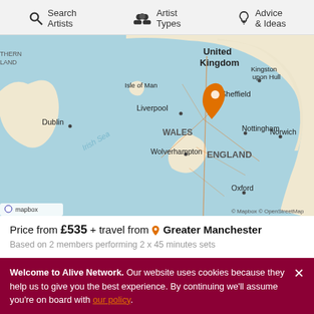Search Artists | Artist Types | Advice & Ideas
[Figure (map): Map of United Kingdom showing Ireland, Isle of Man, Wales, England with cities: Dublin, Liverpool, Sheffield, Kingston upon Hull, Nottingham, Wolverhampton, Norwich, Oxford. Orange location pin near Manchester/Sheffield area. Mapbox / OpenStreetMap attribution.]
Price from £535 + travel from Greater Manchester
Based on 2 members performing 2 x 45 minutes sets
| Region | Price |
| --- | --- |
| North West | From £535 |
| Wales | From £551 |
| North East | From £623 |
Welcome to Alive Network. Our website uses cookies because they help us to give you the best experience. By continuing we'll assume you're on board with our policy.